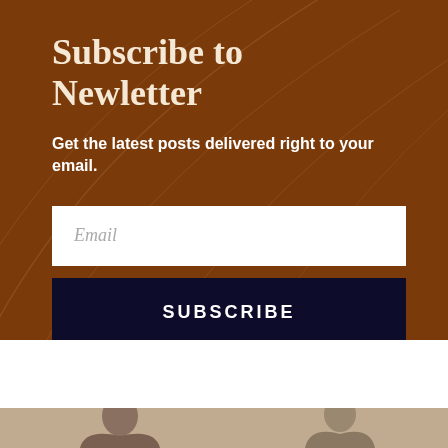Subscribe to Newletter
Get the latest posts delivered right to your email.
[Figure (screenshot): Email input field with placeholder text 'Email']
SUBSCRIBE
[Figure (photo): Partial view of two people at the bottom of the page]